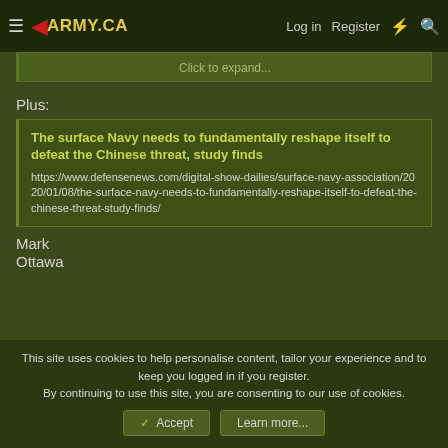≡ ◄ARMY.CA   Log in   Register
Click to expand...
Plus:
The surface Navy needs to fundamentally reshape itself to defeat the Chinese threat, study finds
https://www.defensenews.com/digital-show-dailies/surface-navy-association/2020/01/08/the-surface-navy-needs-to-fundamentally-reshape-itself-to-defeat-the-chinese-threat-study-finds/
Mark
Ottawa
This site uses cookies to help personalise content, tailor your experience and to keep you logged in if you register.
By continuing to use this site, you are consenting to our use of cookies.